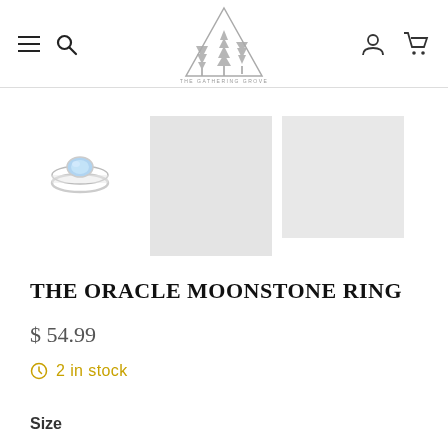[Figure (logo): Mountain/pine tree triangle logo for 'The Gathering Grove']
[Figure (photo): Small silver ring with blue moonstone gem thumbnail]
[Figure (photo): Gray placeholder image square 1]
[Figure (photo): Gray placeholder image square 2]
THE ORACLE MOONSTONE RING
$ 54.99
2 in stock
Size